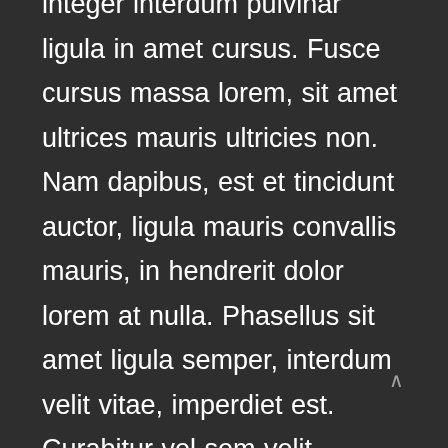integer interdum pulvinar ligula in amet cursus. Fusce cursus massa lorem, sit amet ultrices mauris ultricies non. Nam dapibus, est et tincidunt auctor, ligula mauris convallis mauris, in hendrerit dolor lorem at nulla. Phasellus sit amet ligula semper, interdum velit vitae, imperdiet est. Curabitur vel sem velit. Integer elit dui, varius nec est ut, lacinia efficitur turpis. Curabitur ante tellus, vulputate sed dolor quis, mollis congue sem. Cras sollicitudin, sapien et elementum placerat, nisl est porta metus, vel finibus nisl metus at tortor. Vestibulum pellentesque nec odio nec posuere. Sed a venenatis lacus, molestie pellentesque justo. Cum sociis